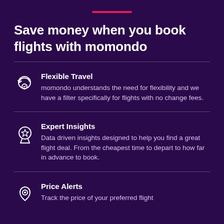[Figure (illustration): Pink horizontal decorative line/rule]
Save money when you book flights with momondo
Flexible Travel — momondo understands the need for flexibility and we have a filter specifically for flights with no change fees.
Expert Insights — Data driven insights designed to help you find a great flight deal. From the cheapest time to depart to how far in advance to book.
Price Alerts — Track the price of your preferred flight